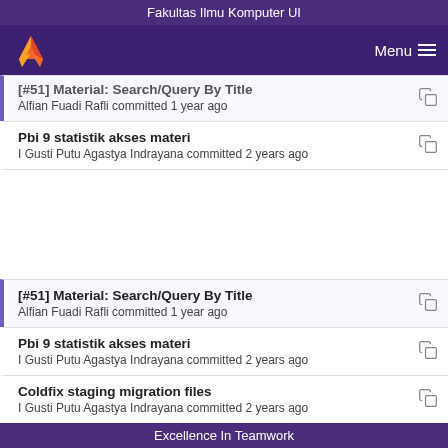Fakultas Ilmu Komputer UI
[#51] Material: Search/Query By Title
Alfian Fuadi Rafli committed 1 year ago
Pbi 9 statistik akses materi
I Gusti Putu Agastya Indrayana committed 2 years ago
[#51] Material: Search/Query By Title
Alfian Fuadi Rafli committed 1 year ago
Pbi 9 statistik akses materi
I Gusti Putu Agastya Indrayana committed 2 years ago
Coldfix staging migration files
I Gusti Putu Agastya Indrayana committed 2 years ago
[#100] Material: Like/Favorite (Admin View)
Excellence In Teamwork